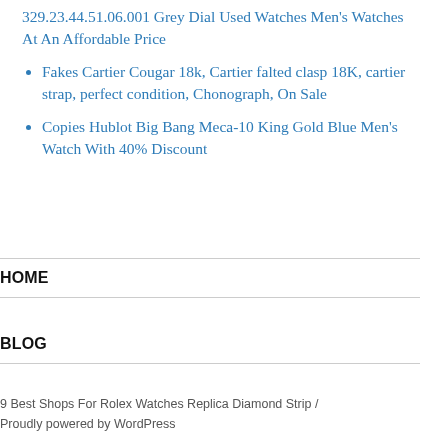329.23.44.51.06.001 Grey Dial Used Watches Men's Watches At An Affordable Price
Fakes Cartier Cougar 18k, Cartier falted clasp 18K, cartier strap, perfect condition, Chonograph, On Sale
Copies Hublot Big Bang Meca-10 King Gold Blue Men's Watch With 40% Discount
HOME
BLOG
9 Best Shops For Rolex Watches Replica Diamond Strip / Proudly powered by WordPress